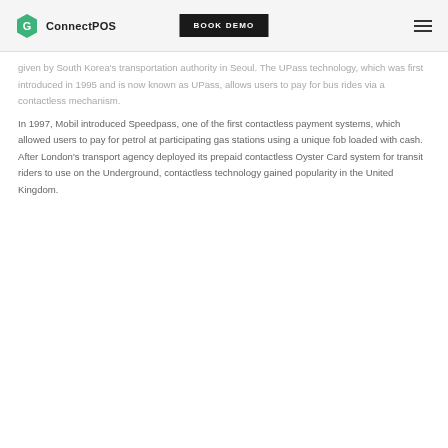ConnectPOS | BOOK DEMO
given by South Korea's transportation authority in Seoul. The UPass technology, which was first introduced in 1995 and is now known as UPass, allows users to pay for bus rides via a contactless mechanism.
In 1997, Mobil introduced Speedpass, one of the first contactless payment systems, which allowed users to pay for petrol at participating gas stations using a unique fob loaded with cash. After London's transport agency deployed its prepaid contactless Oyster Card system for transit riders to use on the Underground, contactless technology gained popularity in the United Kingdom.